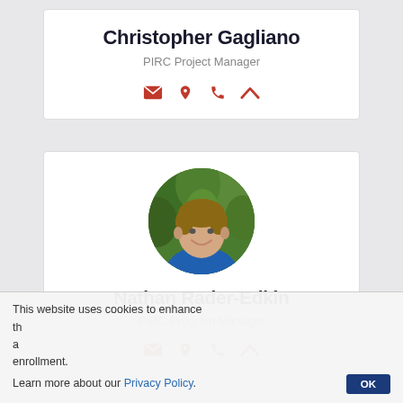Christopher Gagliano
PIRC Project Manager
[Figure (infographic): Contact icons: email envelope, location pin, phone, chevron up — in red]
[Figure (photo): Circular profile photo of Nathan Rader-Edkin, a young man with short brown hair wearing a blue shirt, smiling, with green foliage background]
Nathan Rader-Edkin
PIRC Program Manager
[Figure (infographic): Contact icons: email envelope, location pin, phone, chevron up — in red]
This website uses cookies to enhance the user experience and assist with enrollment.
Learn more about our Privacy Policy.